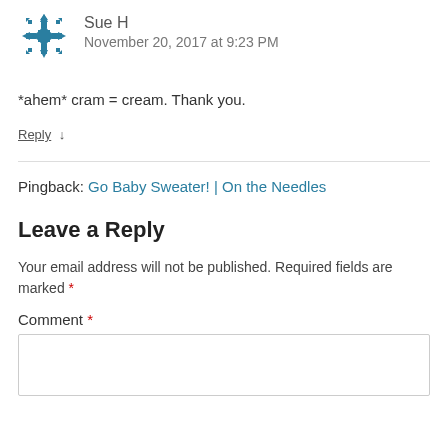[Figure (illustration): Teal geometric/decorative avatar icon for user Sue H]
Sue H
November 20, 2017 at 9:23 PM
*ahem* cram = cream. Thank you.
Reply ↓
Pingback: Go Baby Sweater! | On the Needles
Leave a Reply
Your email address will not be published. Required fields are marked *
Comment *